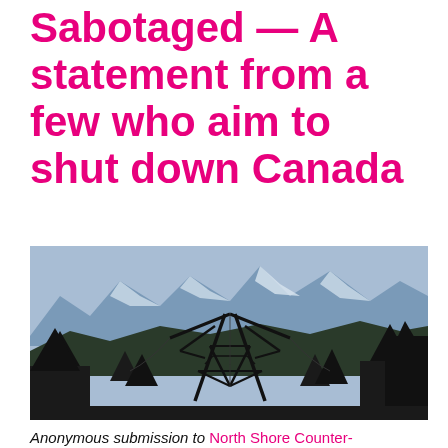Sabotaged — A statement from a few who aim to shut down Canada
[Figure (photo): Photograph of a large steel electrical transmission tower/pylon (damaged or unusual shape) silhouetted against snow-capped mountains and blue sky, with coniferous trees in the foreground.]
Anonymous submission to North Shore Counter-